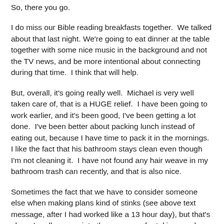So, there you go.
I do miss our Bible reading breakfasts together.  We talked about that last night. We're going to eat dinner at the table together with some nice music in the background and not the TV news, and be more intentional about connecting during that time.  I think that will help.
But, overall, it's going really well.  Michael is very well taken care of, that is a HUGE relief.  I have been going to work earlier, and it's been good, I've been getting a lot done.  I've been better about packing lunch instead of eating out, because I have time to pack it in the mornings.  I like the fact that his bathroom stays clean even though I'm not cleaning it.  I have not found any hair weave in my bathroom trash can recently, and that is also nice.
Sometimes the fact that we have to consider someone else when making plans kind of stinks (see above text message, after I had worked like a 13 hour day), but that's okay.  I really appreciate these women for taking good care of my man, so I can sacrifice my own preference and schedule